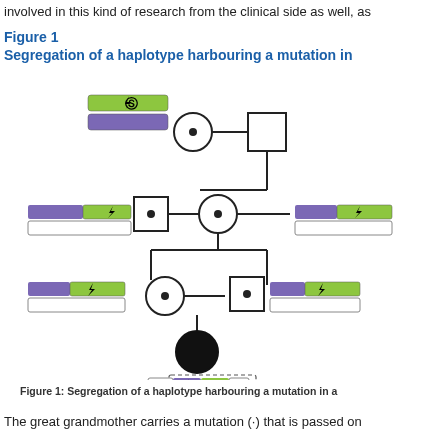involved in this kind of research from the clinical side as well, as
Figure 1
Segregation of a haplotype harbouring a mutation in
[Figure (engineering-diagram): Pedigree diagram showing segregation of a haplotype harbouring a mutation across three generations. Top generation: a carrier female (circle with dot) with one green chromosome with mutation marker and one purple chromosome, mated with a normal male (square). Second generation: carrier male (square with dot) on left side with haplotype bars (purple/green with mutation), mated with carrier female (circle with dot); an unaffected female on the right with similar haplotype bars. Third generation: carrier female (circle with dot) mated with carrier male (square with dot). Bottom: affected female proband (filled black circle) showing homozygous region of ~25 Mb indicated by dashed box on both chromosomes with double-headed arrow.]
Figure 1: Segregation of a haplotype harbouring a mutation in a
The great grandmother carries a mutation (·) that is passed on